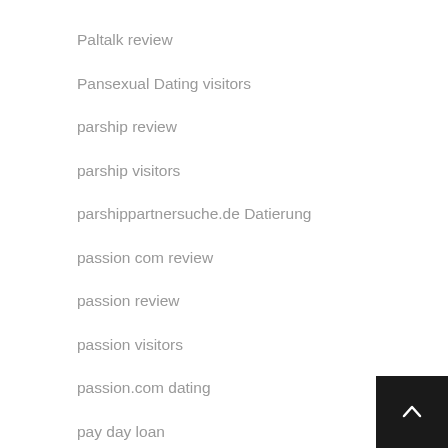Paltalk review
Pansexual Dating visitors
parship review
parship visitors
parshippartnersuche.de Datierung
passion com review
passion review
passion visitors
passion.com dating
pay day loan
pay day loans
pay day loans near me
pay day loans on line